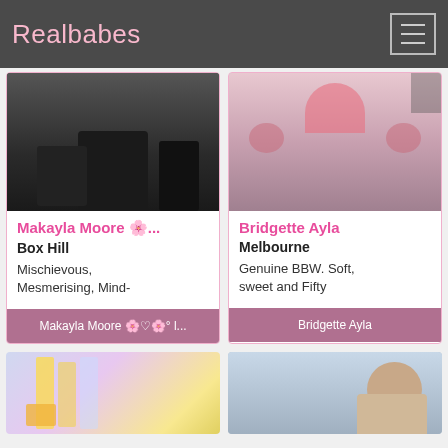Realbabes
[Figure (photo): Photo card for Makayla Moore showing dark image with boots/leather]
Makayla Moore 🌸... Box Hill Mischievous, Mesmerising, Mind-
[Figure (photo): Photo card for Bridgette Ayla showing woman in red bikini with tattoos]
Bridgette Ayla Melbourne Genuine BBW. Soft, sweet and Fifty
[Figure (photo): Bottom left photo showing colorful glasses with drinks]
[Figure (photo): Bottom right photo showing woman with brown hair in profile]